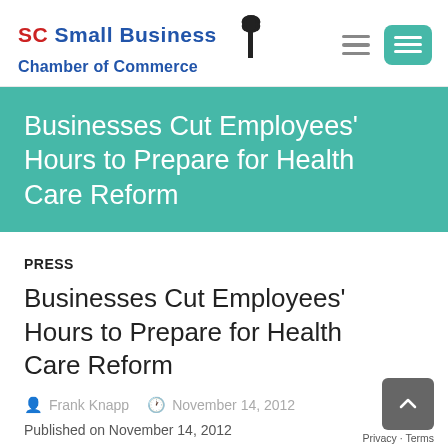[Figure (logo): SC Small Business Chamber of Commerce logo with palmetto tree icon]
Businesses Cut Employees' Hours to Prepare for Health Care Reform
PRESS
Businesses Cut Employees' Hours to Prepare for Health Care Reform
Frank Knapp   November 14, 2012
Published on November 14, 2012